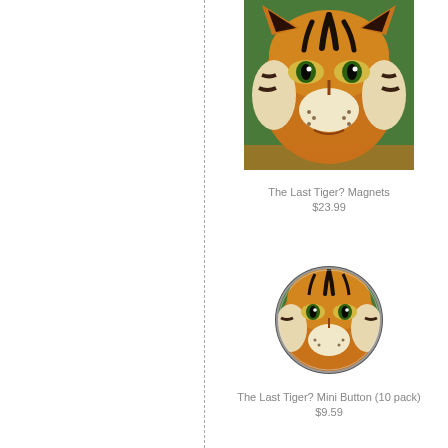[Figure (photo): Close-up photo of a tiger face (rectangular), used as magnet product image]
The Last Tiger? Magnets
$23.99
[Figure (photo): Close-up photo of a tiger face displayed in a circular button shape]
The Last Tiger? Mini Button (10 pack)
$9.59